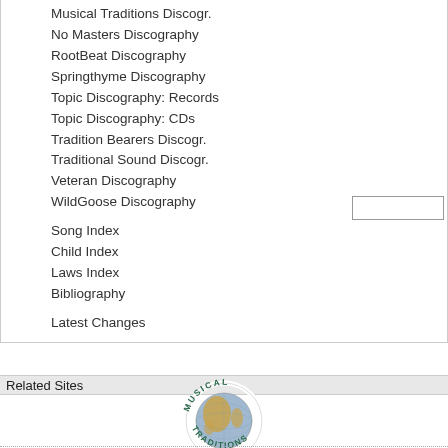Musical Traditions Discogr.
No Masters Discography
RootBeat Discography
Springthyme Discography
Topic Discography: Records
Topic Discography: CDs
Tradition Bearers Discogr.
Traditional Sound Discogr.
Veteran Discography
WildGoose Discography
Song Index
Child Index
Laws Index
Bibliography
Latest Changes
Related Sites
[Figure (logo): Musical Traditions globe logo — circular text reading MUSICAL TRADITIONS around a globe illustration]